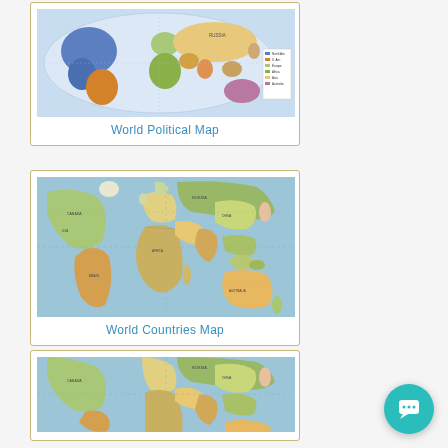[Figure (map): World Political Map showing continents colored in various colors (blue for North America, orange for South America, green/multicolor for Europe and Asia, purple for Australia) in an oval projection with a legend on the right side]
World Political Map
[Figure (map): World Countries Map showing a Mercator-style projection with countries colored in various colors (green, yellow, orange, pink, purple) on a light blue ocean background]
World Countries Map
[Figure (map): Third world map showing similar style to World Countries Map with multicolor countries on blue ocean background, partially visible]